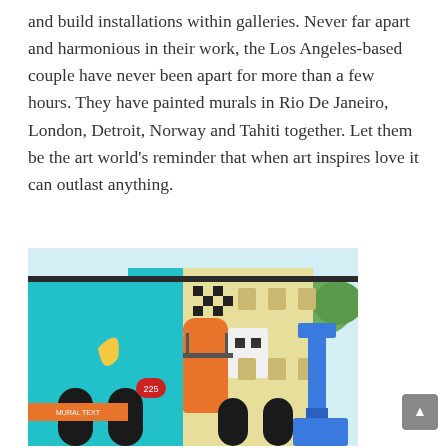and build installations within galleries. Never far apart and harmonious in their work, the Los Angeles-based couple have never been apart for more than a few hours. They have painted murals in Rio De Janeiro, London, Detroit, Norway and Tahiti together. Let them be the art world's reminder that when art inspires love it can outlast anything.
[Figure (photo): A colorful mural painted on the exterior of a two-story building. The mural features bright turquoise, yellow, and orange colors with cartoon-like characters and geometric shapes. A blue lift/crane is visible on the right side of the building. Trees are visible in the background.]